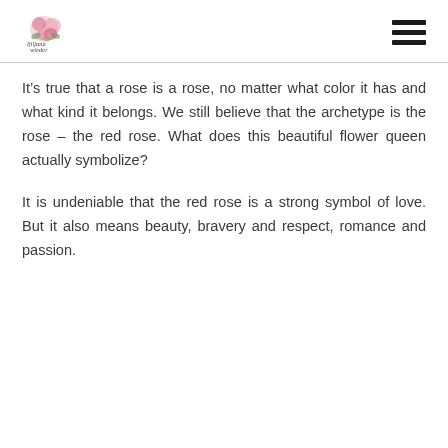ljiljana wieder [logo]
It’s true that a rose is a rose, no matter what color it has and what kind it belongs. We still believe that the archetype is the rose – the red rose. What does this beautiful flower queen actually symbolize?
It is undeniable that the red rose is a strong symbol of love. But it also means beauty, bravery and respect, romance and passion.